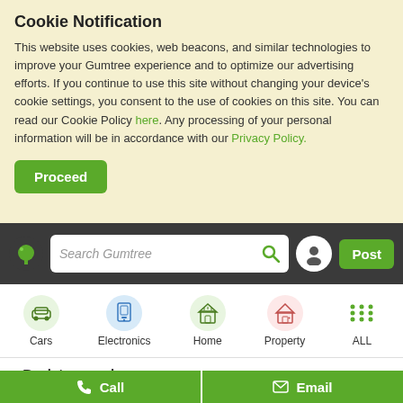Cookie Notification
This website uses cookies, web beacons, and similar technologies to improve your Gumtree experience and to optimize our advertising efforts. If you continue to use this site without changing your device's cookie settings, you consent to the use of cookies on this site. You can read our Cookie Policy here. Any processing of your personal information will be in accordance with our Privacy Policy.
Proceed
[Figure (screenshot): Gumtree navigation bar with logo, search box, user icon, and Post button]
[Figure (screenshot): Category navigation bar with Cars, Electronics, Home, Property, ALL icons]
< Back to search
(Western Cape>Northern Suburbs>Jobs>Healthcare & Nursing jobs> ad 1096006698)
[Figure (screenshot): Call and Email action buttons at the bottom of the page]